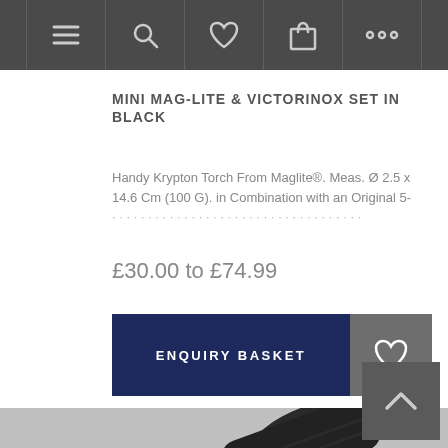Navigation bar with menu, search, wishlist, basket, and more icons
MINI MAG-LITE & VICTORINOX SET IN BLACK
Handy Krypton Torch From Maglite®. Meas. Ø 2.5 x 14.6 Cm (100 G). in Combination with an Original 5-...
£30.00 to £74.99
ENQUIRY BASKET
[Figure (photo): Close-up photo of a black Mini Mag-Lite torch and Victorinox knife set in black, showing the dark handles and metal body of the torch]